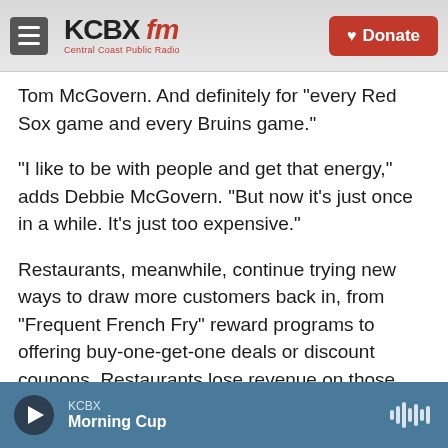KCBX FM - Central Coast Public Radio | Donate
Tom McGovern. And definitely for "every Red Sox game and every Bruins game."
"I like to be with people and get that energy," adds Debbie McGovern. "But now it's just once in a while. It's just too expensive."
Restaurants, meanwhile, continue trying new ways to draw more customers back in, from "Frequent French Fry" reward programs to offering buy-one-get-one deals or discount coupons. Restaurants lose revenue on those deals in the short run, but Sean Jung, assistant professor at Boston University School of Hospitality Administration
KCBX | Morning Cup